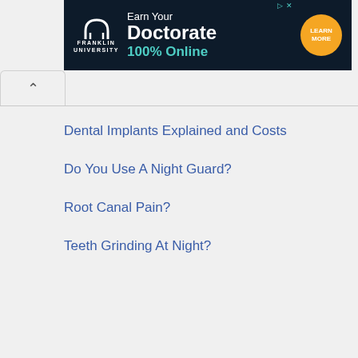[Figure (screenshot): Franklin University advertisement banner: dark navy background with white Franklin University arch logo and text, 'Earn Your Doctorate 100% Online' text, and orange circular 'LEARN MORE' button]
Dental Implants Explained and Costs
Do You Use A Night Guard?
Root Canal Pain?
Teeth Grinding At Night?